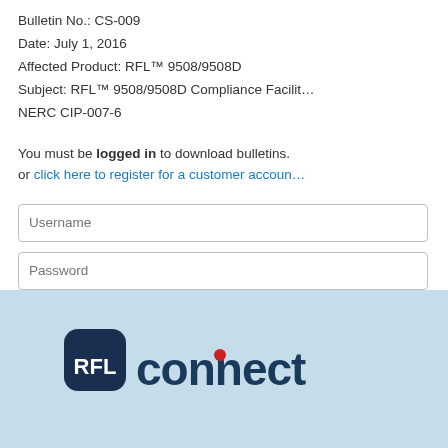Bulletin No.: CS-009
Date: July 1, 2016
Affected Product: RFL™ 9508/9508D
Subject: RFL™ 9508/9508D Compliance Facilit… NERC CIP-007-6
You must be logged in to download bulletins. or click here to register for a customer accoun…
[Figure (screenshot): Login form with Username field, Password field, Log in button, and forgot password/username links]
[Figure (logo): RFL Connect logo on light blue background at bottom of page]